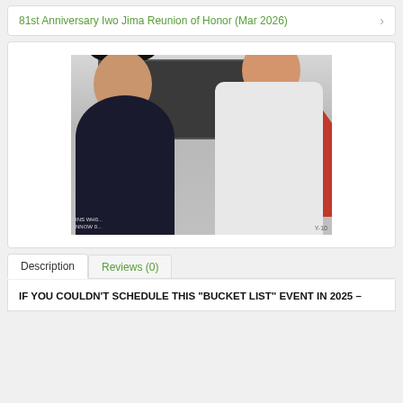81st Anniversary Iwo Jima Reunion of Honor (Mar 2026)
[Figure (photo): Two people posing together outdoors near a large dark memorial board. A woman with long black hair wearing a dark top stands on the left. A man with a white mustache and green bucket hat wearing a white shirt stands on the right. A red aircraft tail is visible in the background.]
Description
Reviews (0)
IF YOU COULDN'T SCHEDULE THIS "BUCKET LIST" EVENT IN 2025 –